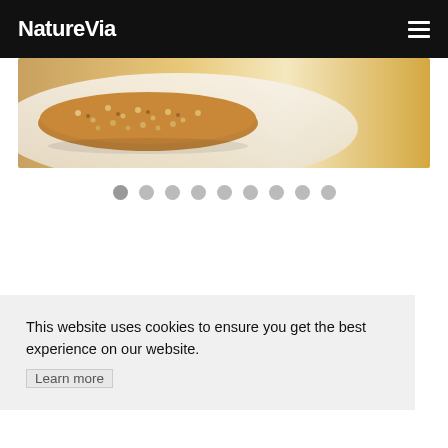NatureVia
[Figure (photo): Close-up photo of a sesame seed covered food item (cracker or bread) on a light surface with warm orange/tan background tones]
[Figure (infographic): Slideshow pagination indicator row with 9 circular dots, the first one slightly darker indicating active state]
This website uses cookies to ensure you get the best experience on our website.
Learn more